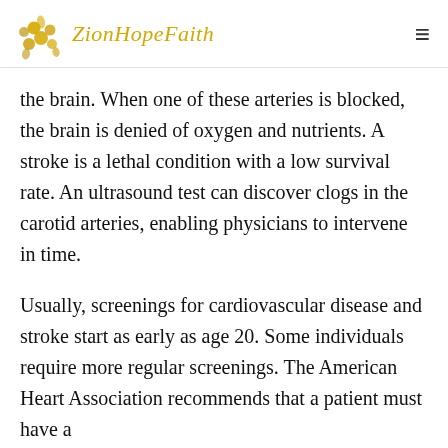ZionHopeFaith
the brain. When one of these arteries is blocked, the brain is denied of oxygen and nutrients. A stroke is a lethal condition with a low survival rate. An ultrasound test can discover clogs in the carotid arteries, enabling physicians to intervene in time.
Usually, screenings for cardiovascular disease and stroke start as early as age 20. Some individuals require more regular screenings. The American Heart Association recommends that a patient must have a